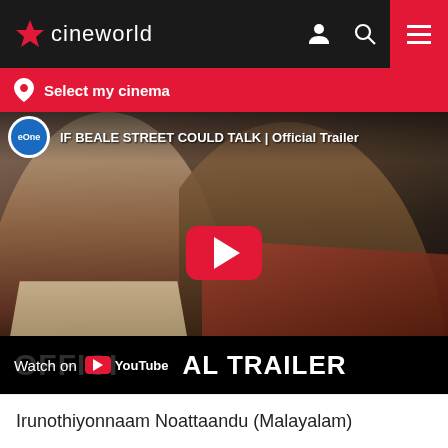cineworld
Select my cinema
[Figure (screenshot): YouTube video thumbnail for 'IF BEALE STREET COULD TALK | Official Trailer' showing two young Black people in an intimate close pose, with a YouTube play button overlay and 'Watch on YouTube' bar at bottom showing 'OFFICIAL TRAILER' text. The eOne channel badge is visible in the top left.]
Irunothiyonnaam Noattaandu (Malayalam)